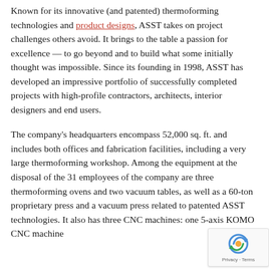Known for its innovative (and patented) thermoforming technologies and product designs, ASST takes on project challenges others avoid. It brings to the table a passion for excellence — to go beyond and to build what some initially thought was impossible. Since its founding in 1998, ASST has developed an impressive portfolio of successfully completed projects with high-profile contractors, architects, interior designers and end users.
The company's headquarters encompass 52,000 sq. ft. and includes both offices and fabrication facilities, including a very large thermoforming workshop. Among the equipment at the disposal of the 31 employees of the company are three thermoforming ovens and two vacuum tables, as well as a 60-ton proprietary press and a vacuum press related to patented ASST technologies. It also has three CNC machines: one 5-axis KOMO CNC machine
[Figure (other): reCAPTCHA badge with Privacy and Terms text]